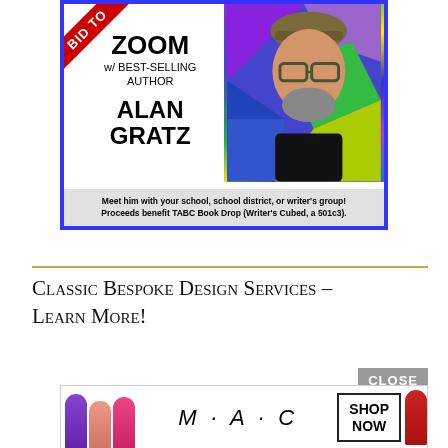[Figure (infographic): Auction advertisement for a Zoom meeting with best-selling author Alan Gratz. Blue-bordered box with red corner ribbon saying 'BID TO', colorful geometric background with photo of bearded man in hat and glasses. Text: ZOOM w/ BEST-SELLING AUTHOR ALAN GRATZ. Bottom strip: Meet him with your school, school district, or writer's group! Proceeds benefit TABC Book Drop (Writer's Cubed, a 501c3).]
Classic Bespoke Design Services – Learn More!
[Figure (infographic): Bottom advertisement banner showing MAC cosmetics ad with lipstick products in purple, pink, hot pink colors, MAC logo in italic lettering, SHOP NOW button box, and red lipstick on right. Close button shown as grey box with CLOSE text.]